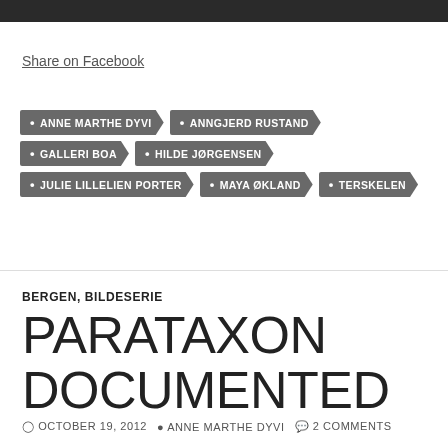[Figure (photo): Dark photograph strip at top of page]
Share on Facebook
• ANNE MARTHE DYVI
• ANNGJERD RUSTAND
• GALLERI BOA
• HILDE JØRGENSEN
• JULIE LILLELIEN PORTER
• MAYA ØKLAND
• TERSKELEN
BERGEN, BILDESERIE
PARATAXON DOCUMENTED
OCTOBER 19, 2012  ANNE MARTHE DYVI  2 COMMENTS